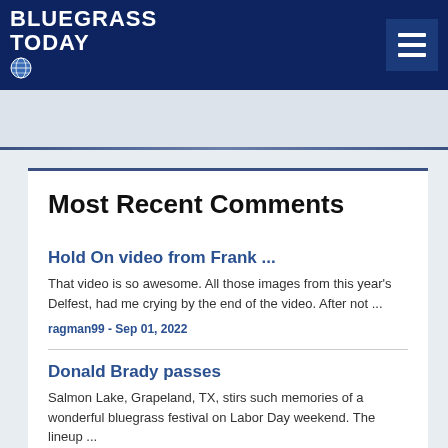Bluegrass Today
Most Recent Comments
Hold On video from Frank ...
That video is so awesome. All those images from this year's Delfest, had me crying by the end of the video. After not ...
ragman99 - Sep 01, 2022
Donald Brady passes
Salmon Lake, Grapeland, TX, stirs such memories of a wonderful bluegrass festival on Labor Day weekend. The lineup ...
bluegrasshack1 - Aug 31, 2022
From The Side of the Road... ...